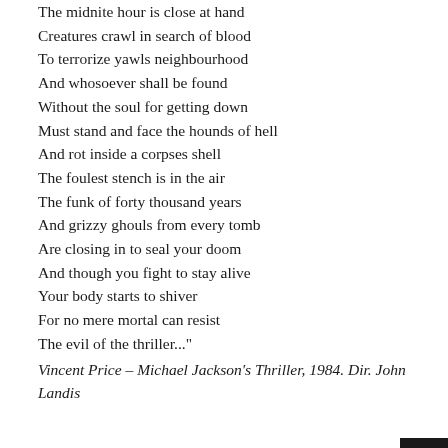The midnite hour is close at hand
Creatures crawl in search of blood
To terrorize yawls neighbourhood
And whosoever shall be found
Without the soul for getting down
Must stand and face the hounds of hell
And rot inside a corpses shell
The foulest stench is in the air
The funk of forty thousand years
And grizzy ghouls from every tomb
Are closing in to seal your doom
And though you fight to stay alive
Your body starts to shiver
For no mere mortal can resist
The evil of the thriller..."
Vincent Price – Michael Jackson's Thriller, 1984. Dir. John Landis